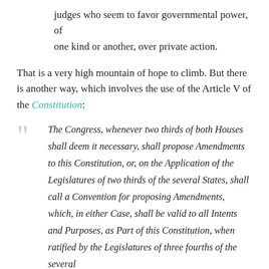judges who seem to favor governmental power, of one kind or another, over private action.
That is a very high mountain of hope to climb. But there is another way, which involves the use of the Article V of the Constitution:
The Congress, whenever two thirds of both Houses shall deem it necessary, shall propose Amendments to this Constitution, or, on the Application of the Legislatures of two thirds of the several States, shall call a Convention for proposing Amendments, which, in either Case, shall be valid to all Intents and Purposes, as Part of this Constitution, when ratified by the Legislatures of three fourths of the several